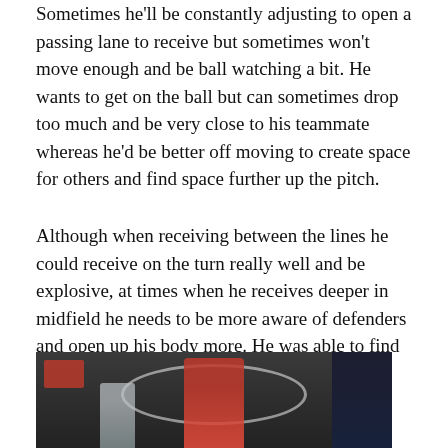Sometimes he'll be constantly adjusting to open a passing lane to receive but sometimes won't move enough and be ball watching a bit. He wants to get on the ball but can sometimes drop too much and be very close to his teammate whereas he'd be better off moving to create space for others and find space further up the pitch.
Although when receiving between the lines he could receive on the turn really well and be explosive, at times when he receives deeper in midfield he needs to be more aware of defenders and open up his body more. He was able to find spaces and carry to ball forward, driving at the defence, making 2.7 progressive runs which is excellent.
[Figure (photo): A football/soccer player in a red jersey on a dark-backgrounded pitch, with other players partially visible and an oval stadium light ring visible overhead.]